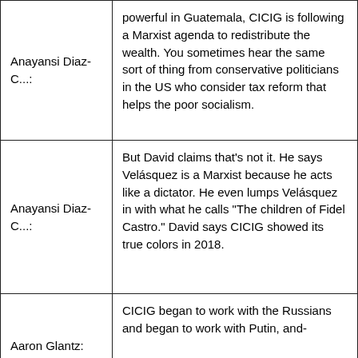| Anayansi Diaz-C...: | powerful in Guatemala, CICIG is following a Marxist agenda to redistribute the wealth. You sometimes hear the same sort of thing from conservative politicians in the US who consider tax reform that helps the poor socialism. |
| Anayansi Diaz-C...: | But David claims that’s not it. He says Velásquez is a Marxist because he acts like a dictator. He even lumps Velásquez in with what he calls “The children of Fidel Castro.” David says CICIG showed its true colors in 2018. |
| Aaron Glantz: | CICIG began to work with the Russians and began to work with Putin, and- |